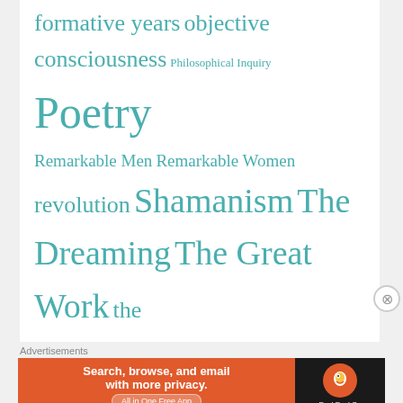formative years objective consciousness Philosophical Inquiry Poetry Remarkable Men Remarkable Women revolution Shamanism The Dreaming The Great Work the Telling The waking state The years of exile toltec Uncategorized
Sign Up for my Email List
Advertisements
[Figure (screenshot): DuckDuckGo advertisement banner: orange background with text 'Search, browse, and email with more privacy. All in One Free App' and DuckDuckGo logo on dark background.]